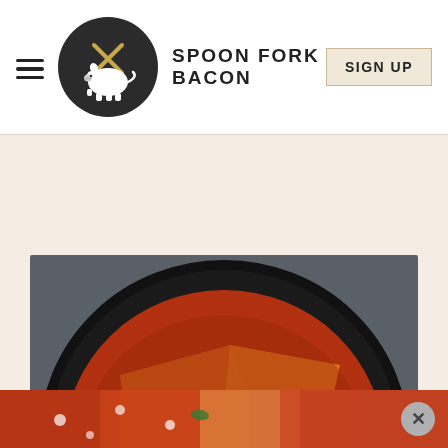SPOON FORK BACON
If you love chilaquiles as much as I do, I recommend checking out our other versions!
[Figure (photo): Close-up overhead photo of chilaquiles in a dark cast-iron skillet with red salsa, fried egg, crumbled white cheese, and green herb garnish]
[Figure (photo): Partial view of another food dish visible at the bottom of the page behind an ad banner]